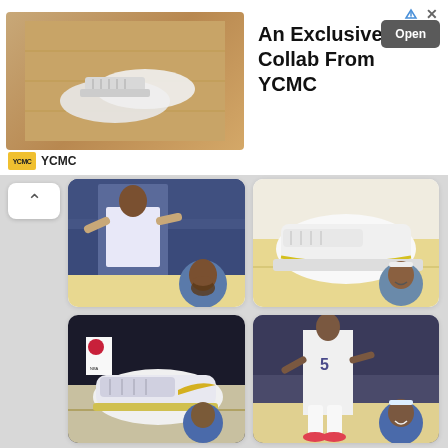[Figure (infographic): Advertisement banner for YCMC exclusive collaboration. Shows sneakers on a wooden surface, text 'An Exclusive Collab From YCMC', an Open button, and YCMC logo.]
[Figure (photo): Basketball player in action on court with crowd, overlaid with headshot portrait of bearded player in blue Mavericks uniform.]
[Figure (photo): Close-up of white and yellow basketball sneakers on court, overlaid with headshot of smiling player with headband in Nuggets uniform.]
[Figure (photo): Close-up of white and gold Nike basketball shoes on court, overlaid with headshot of player in Clippers blue jersey.]
[Figure (photo): Full-length photo of WNBA player #5 on court in white uniform, overlaid with smiling headshot of woman with white headband in Mystics uniform.]